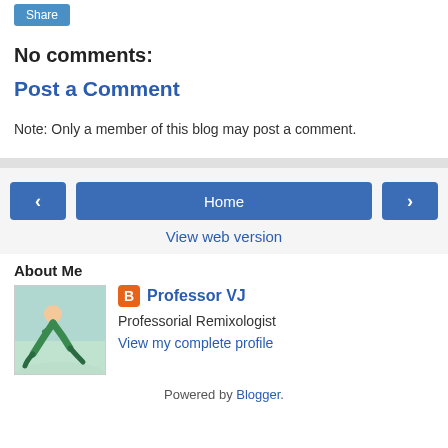Share
No comments:
Post a Comment
Note: Only a member of this blog may post a comment.
Home
View web version
About Me
[Figure (photo): Profile photo of a person in green bending over on a beach]
Professor VJ
Professorial Remixologist
View my complete profile
Powered by Blogger.